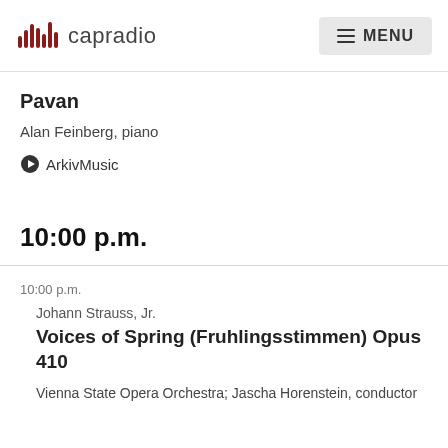capradio MENU
Pavan
Alan Feinberg, piano
ArkivMusic
10:00 p.m.
10:00 p.m.
Johann Strauss, Jr.
Voices of Spring (Fruhlingsstimmen) Opus 410
Vienna State Opera Orchestra; Jascha Horenstein, conductor